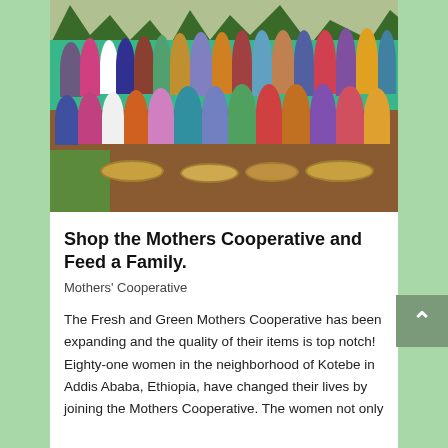[Figure (photo): Group photo of approximately 30-40 women seated and standing outdoors in Kotebe, Addis Ababa, Ethiopia. They are wearing colorful traditional clothing. Large trays/baskets of grain are displayed in front of them on the ground. There is a teal/green wall behind them and trees in the background.]
Shop the Mothers Cooperative and Feed a Family.
Mothers' Cooperative
The Fresh and Green Mothers Cooperative has been expanding and the quality of their items is top notch! Eighty-one women in the neighborhood of Kotebe in Addis Ababa, Ethiopia, have changed their lives by joining the Mothers Cooperative. The women not only